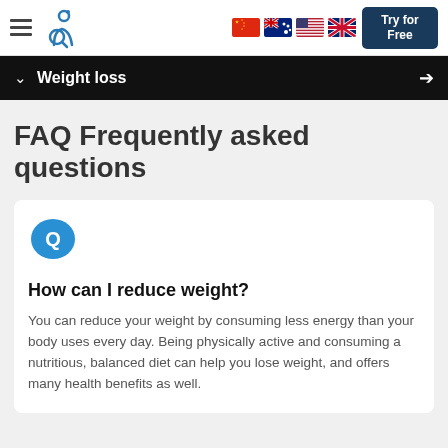Weight loss
FAQ Frequently asked questions
How can I reduce weight?
You can reduce your weight by consuming less energy than your body uses every day. Being physically active and consuming a nutritious, balanced diet can help you lose weight, and offers many health benefits as well.